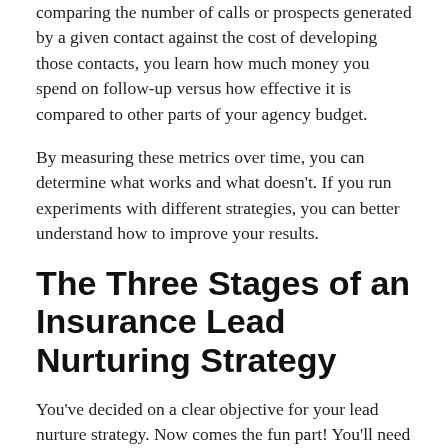comparing the number of calls or prospects generated by a given contact against the cost of developing those contacts, you learn how much money you spend on follow-up versus how effective it is compared to other parts of your agency budget.
By measuring these metrics over time, you can determine what works and what doesn't. If you run experiments with different strategies, you can better understand how to improve your results.
The Three Stages of an Insurance Lead Nurturing Strategy
You've decided on a clear objective for your lead nurture strategy. Now comes the fun part! You'll need to break down your list of contacts into smaller